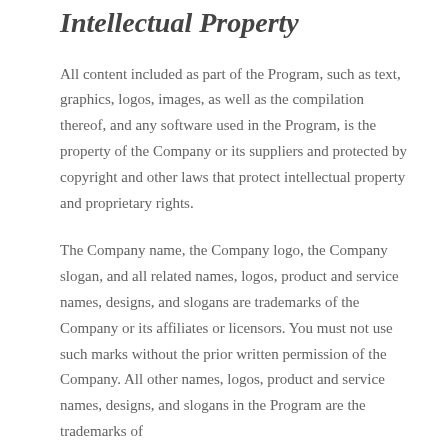Intellectual Property
All content included as part of the Program, such as text, graphics, logos, images, as well as the compilation thereof, and any software used in the Program, is the property of the Company or its suppliers and protected by copyright and other laws that protect intellectual property and proprietary rights.
The Company name, the Company logo, the Company slogan, and all related names, logos, product and service names, designs, and slogans are trademarks of the Company or its affiliates or licensors. You must not use such marks without the prior written permission of the Company. All other names, logos, product and service names, designs, and slogans in the Program are the trademarks of